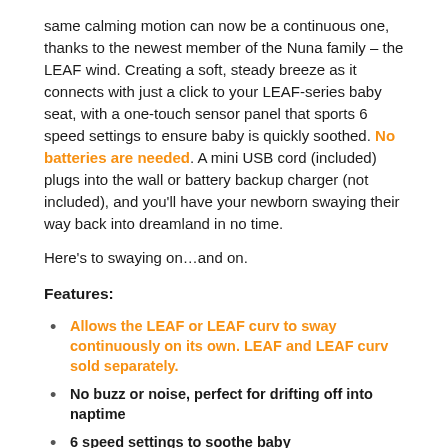same calming motion can now be a continuous one, thanks to the newest member of the Nuna family – the LEAF wind. Creating a soft, steady breeze as it connects with just a click to your LEAF-series baby seat, with a one-touch sensor panel that sports 6 speed settings to ensure baby is quickly soothed. No batteries are needed. A mini USB cord (included) plugs into the wall or battery backup charger (not included), and you'll have your newborn swaying their way back into dreamland in no time.
Here's to swaying on…and on.
Features:
Allows the LEAF or LEAF curv to sway continuously on its own. LEAF and LEAF curv sold separately.
No buzz or noise, perfect for drifting off into naptime
6 speed settings to soothe baby
Integrated one-touch sensor control panel is easy to use
No batteries needed - simply plug the micro USB cord